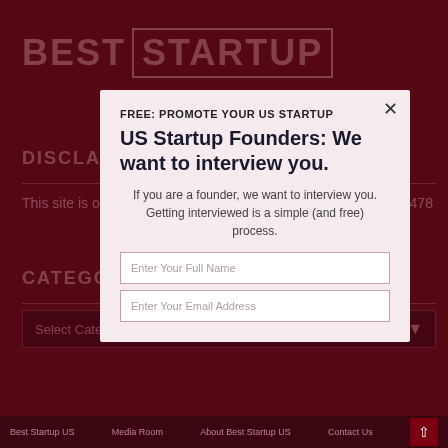BEST STARTUP
DISCLAIMER
This site is operated by Fupping Ltd. Company number: 11439478
CATEGORIES
FREE: PROMOTE YOUR US STARTUP
US Startup Founders: We want to interview you.
If you are a founder, we want to interview you. Getting interviewed is a simple (and free) process.
Enter Your Full Name
Enter Your Email Address
Best Startup US   Media Room   About Best Startup US   Contact Us